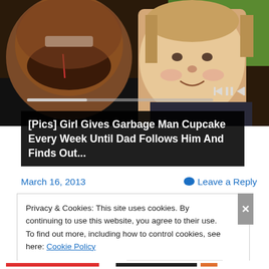[Figure (photo): Photo of a smiling man with dark skin and beard wearing a dark jacket with headphones, and a young light-skinned child smiling beside him, taken outdoors near greenery.]
[Pics] Girl Gives Garbage Man Cupcake Every Week Until Dad Follows Him And Finds Out...
March 16, 2013
Leave a Reply
Privacy & Cookies: This site uses cookies. By continuing to use this website, you agree to their use.
To find out more, including how to control cookies, see here: Cookie Policy
Close and accept